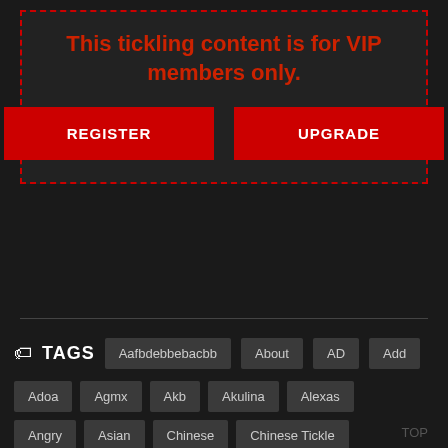This tickling content is for VIP members only.
REGISTER
UPGRADE
TAGS: Aafbdebbebacbb, About, AD, Add, Adoa, Agmx, Akb, Akulina, Alexas, Angry, Asian, Chinese, Chinese Tickle, Chinese Tickling
TOP